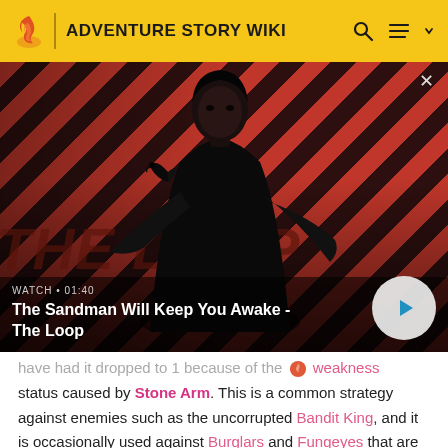ADVENTURE STORY WIKI
[Figure (screenshot): Video thumbnail showing a dark-clothed character with a bird on their shoulder against a red and black diagonal striped background. Title reads 'The Sandman Will Keep You Awake - The Loop'. Watch time shown as 01:40.]
have had it dropped to 1 because of the weakness status caused by Stone Arm. This is a common strategy against enemies such as the uncorrupted Bandit King, and it is occasionally used against Burglars and Fungeyes that are Corruption 1.